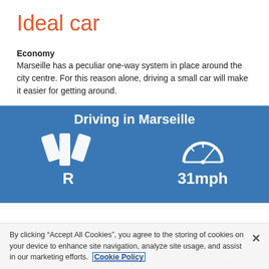Ideal car
Economy
Marseille has a peculiar one-way system in place around the city centre. For this reason alone, driving a small car will make it easier for getting around.
[Figure (infographic): Blue infographic panel titled 'Driving in Marseille' with two icons: a road/highway icon with label 'R' on the left, and a speedometer icon with label '31mph' on the right.]
By clicking “Accept All Cookies”, you agree to the storing of cookies on your device to enhance site navigation, analyze site usage, and assist in our marketing efforts. Cookie Policy